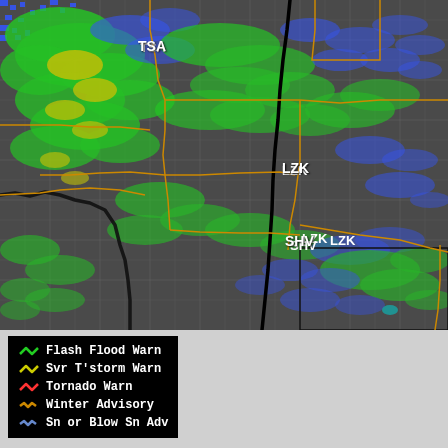[Figure (map): NEXRAD composite weather radar map showing precipitation over a region covering parts of Oklahoma, Arkansas, Texas, and Louisiana. The map displays counties/parishes as dark gray polygons with lighter gray borders. Radar returns are shown in green (moderate precipitation), blue (light precipitation), and yellow (heavy precipitation). Orange boundary lines indicate NWS forecast office zones (TSA, LZK, SHV labeled). A thick black line indicates a state or administrative boundary. Station identifiers TSA (upper left), LZK (upper right center), and SHV (lower center) are labeled in white.]
Flash Flood Warn
Svr T'storm Warn
Tornado Warn
Winter Advisory
Sn or Blow Sn Adv